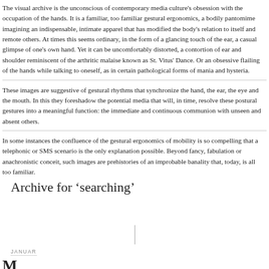The visual archive is the unconscious of contemporary media culture's obsession with the occupation of the hands. It is a familiar, too familiar gestural ergonomics, a bodily pantomime imagining an indispensable, intimate apparel that has modified the body's relation to itself and remote others. At times this seems ordinary, in the form of a glancing touch of the ear, a casual glimpse of one's own hand. Yet it can be uncomfortably distorted, a contortion of ear and shoulder reminiscent of the arthritic malaise known as St. Vitus' Dance. Or an obsessive flailing of the hands while talking to oneself, as in certain pathological forms of mania and hysteria.
These images are suggestive of gestural rhythms that synchronize the hand, the ear, the eye and the mouth. In this they foreshadow the potential media that will, in time, resolve these postural gestures into a meaningful function: the immediate and continuous communion with unseen and absent others.
In some instances the confluence of the gestural ergonomics of mobility is so compelling that a telephonic or SMS scenario is the only explanation possible. Beyond fancy, fabulation or anachronistic conceit, such images are prehistories of an improbable banality that, today, is all too familiar.
Archive for ‘searching’
JANUAR
M